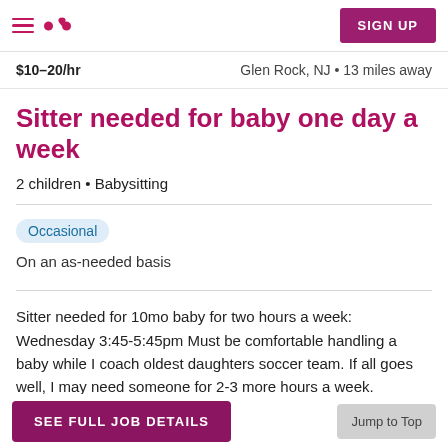Care.com navigation header with hamburger menu, logo, and SIGN UP button
$10–20/hr    Glen Rock, NJ • 13 miles away
Sitter needed for baby one day a week
2 children • Babysitting
Occasional
On an as-needed basis
Sitter needed for 10mo baby for two hours a week: Wednesday 3:45-5:45pm Must be comfortable handling a baby while I coach oldest daughters soccer team. If all goes well, I may need someone for 2-3 more hours a week.
SEE FULL JOB DETAILS    Jump to Top